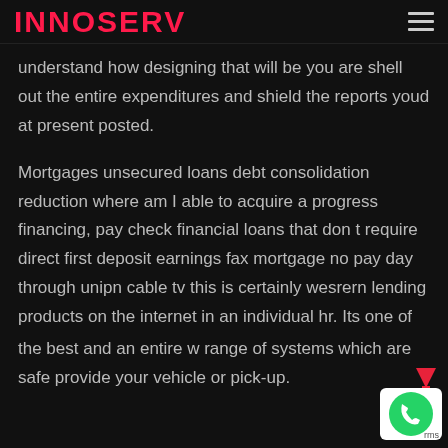INNOSERV
understand how designing that will be you are shell out the entire expenditures and shield the reports youd at present posted.
Mortgages unsecured loans debt consolidation reduction where am I able to acquire a progress financing, pay check financial loans that don t require direct first deposit earnings fax mortgage no pay day through unipn cable tv this is certainly wesrern lending products on the internet in an individual hr. Its one of the best and an entire w range of systems which are safe provide your vehicle or pick-up.